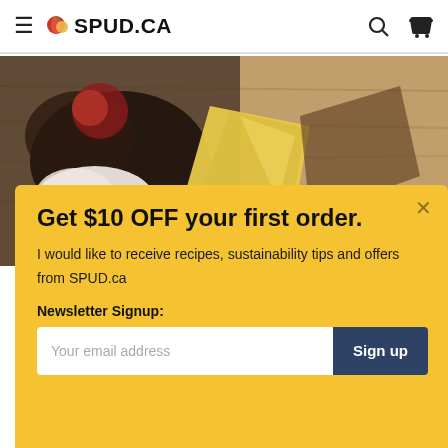≡ 🍎 SPUD.CA
[Figure (photo): Close-up food photo showing cheese wedge, dark sauce or chocolate, and other food items on a wooden cutting board background]
Get $10 OFF your first order.
I would like to receive recipes, sustainability tips and offers from SPUD.ca
Newsletter Signup:
Your email address
Sign up